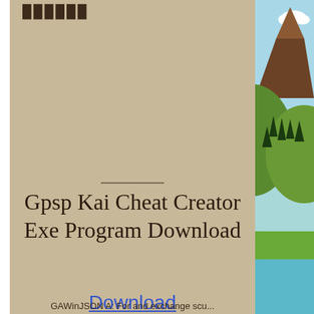██████
Gpsp Kai Cheat Creator Exe Program Download
Download
GAWinJSON A: For and exchange scu...